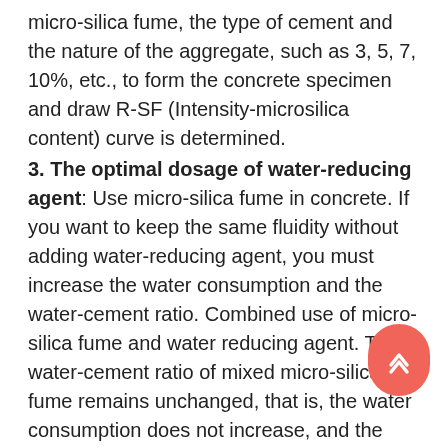micro-silica fume, the type of cement and the nature of the aggregate, such as 3, 5, 7, 10%, etc., to form the concrete specimen and draw R-SF (Intensity-microsilica content) curve is determined.
3. The optimal dosage of water-reducing agent: Use micro-silica fume in concrete. If you want to keep the same fluidity without adding water-reducing agent, you must increase the water consumption and the water-cement ratio. Combined use of micro-silica fume and water reducing agent. The water-cement ratio of mixed micro-silica fume remains unchanged, that is, the water consumption does not increase, and the same fluidity and strength of micro-silica concrete can be achieved with concrete without micro-silica fume. Has been greatly improved.
4. Adjustment of the amount of sand and gravel: Generally, there is no need to adjust the amount of sand and gravel mixed with micro-silica powder. The volume of sand and gravel equal to the volume of the micro-silica